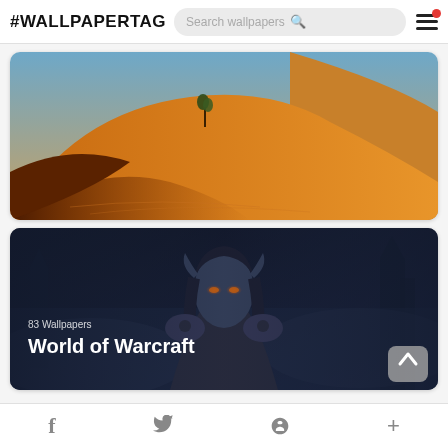#WALLPAPERTAG  Search wallpapers
[Figure (photo): Desert sand dunes with a small tree in the center, orange/golden tones, blue sky in background]
[Figure (photo): World of Warcraft fantasy character (dark elf/night elf) with glowing orange eyes, blue-toned dark fantasy setting. Overlay text: 83 Wallpapers / World of Warcraft]
f  (Twitter bird)  p  +